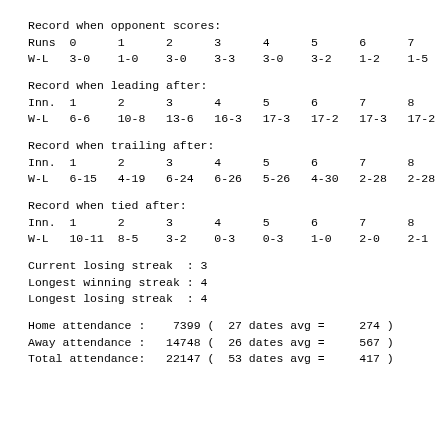Record when opponent scores:
Runs  0      1      2      3      4      5      6      7
W-L   3-0    1-0    3-0    3-3    3-0    3-2    1-2    1-5
Record when leading after:
Inn.  1      2      3      4      5      6      7      8
W-L   6-6    10-8   13-6   16-3   17-3   17-2   17-3   17-2
Record when trailing after:
Inn.  1      2      3      4      5      6      7      8
W-L   6-15   4-19   6-24   6-26   5-26   4-30   2-28   2-28
Record when tied after:
Inn.  1      2      3      4      5      6      7      8
W-L   10-11  8-5    3-2    0-3    0-3    1-0    2-0    2-1
Current losing streak  : 3
Longest winning streak : 4
Longest losing streak  : 4
Home attendance :    7399 (  27 dates avg =     274 )
Away attendance :   14748 (  26 dates avg =     567 )
Total attendance:   22147 (  53 dates avg =     417 )